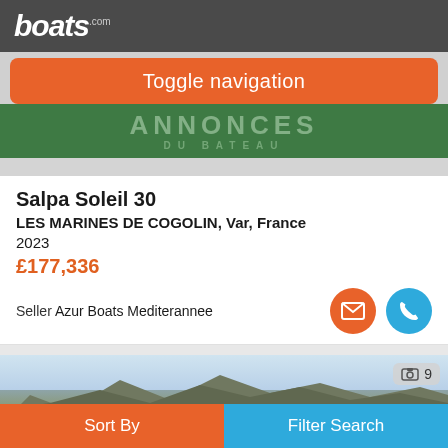boats.com
Toggle navigation
[Figure (screenshot): Green banner with text ANNONCES DU BATEAU in faded letters]
Salpa Soleil 30
LES MARINES DE COGOLIN, Var, France
2023
£177,336
Seller Azur Boats Mediterannee
[Figure (photo): Coastal scene with mountains in background, boat visible, photo count badge showing 9]
Sort By | Filter Search